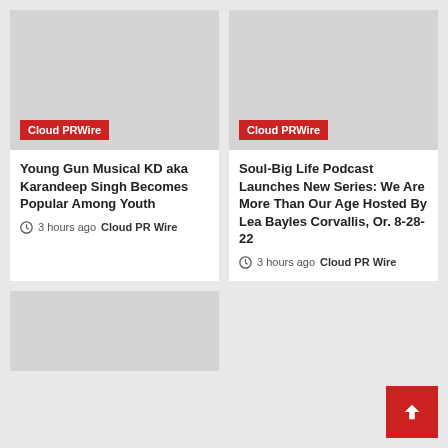[Figure (photo): Gray placeholder image with Cloud PRWire red badge overlay]
[Figure (photo): Gray placeholder image with Cloud PRWire red badge overlay]
Young Gun Musical KD aka Karandeep Singh Becomes Popular Among Youth
3 hours ago  Cloud PR Wire
Soul-Big Life Podcast Launches New Series: We Are More Than Our Age Hosted By Lea Bayles Corvallis, Or. 8-28-22
3 hours ago  Cloud PR Wire
[Figure (photo): Gray placeholder image partial view at bottom left]